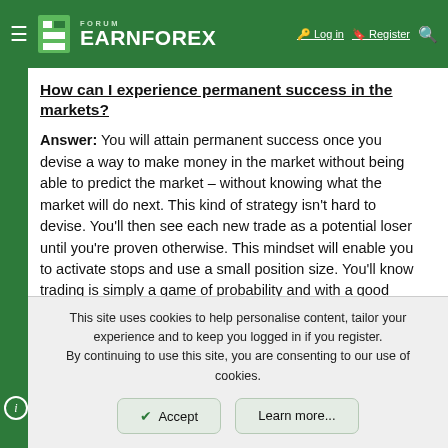FORUM EARNFOREX — Log in | Register
How can I experience permanent success in the markets?
Answer: You will attain permanent success once you devise a way to make money in the market without being able to predict the market – without knowing what the market will do next. This kind of strategy isn't hard to devise. You'll then see each new trade as a potential loser until you're proven otherwise. This mindset will enable you to activate stops and use a small position size. You'll know trading is simply a game of probability and with a good RRR, the odds will eventually come in your favour. This is what's called positive expectancy. With this simple approach, you'll no longer see trading as difficult. More
This site uses cookies to help personalise content, tailor your experience and to keep you logged in if you register. By continuing to use this site, you are consenting to our use of cookies.